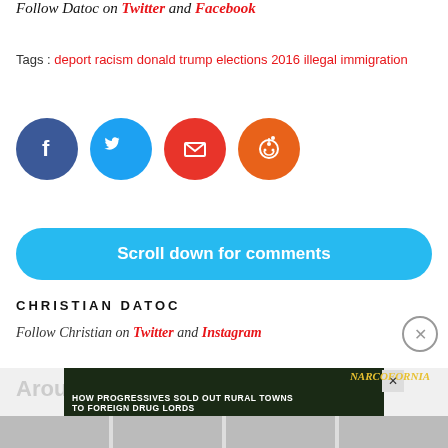Follow Datoc on Twitter and Facebook
Tags : deport racism donald trump elections 2016 illegal immigration
[Figure (other): Social media share icons: Facebook (dark blue circle), Twitter (blue circle), Email (red circle), Reddit (orange circle)]
Scroll down for comments
CHRISTIAN DATOC
Follow Christian on Twitter and Instagram
[Figure (screenshot): Advertisement overlay: 'HOW PROGRESSIVES SOLD OUT RURAL TOWNS TO FOREIGN DRUG LORDS' with NARCOFORNIA branding and WATCH NOW button]
Around